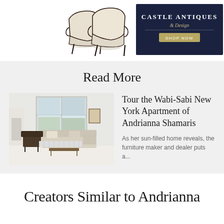[Figure (logo): Castle Antiques & Design advertisement banner with two cream upholstered chairs on the left, a dark navy blue center panel with 'CASTLE ANTIQUES & Design' logo and 'SHOP NOW' button, and a dark antique writing desk on the right]
Read More
[Figure (photo): Interior photo of a bright, minimalist living room with large windows, white walls, a sofa with pillows, a dark armchair, and a fireplace]
Tour the Wabi-Sabi New York Apartment of Andrianna Shamaris
As her sun-filled home reveals, the furniture maker and dealer puts a...
Creators Similar to Andrianna